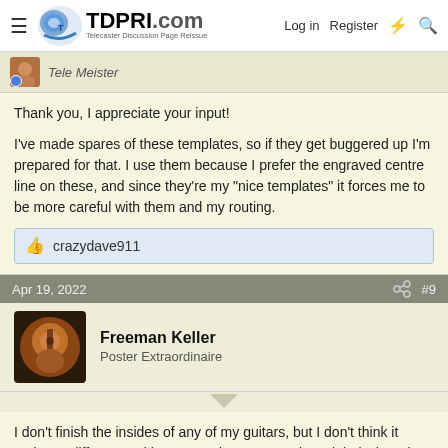TDPRI.com — Telecaster Discussion Page Reissue | Log in | Register
Tele Meister
Thank you, I appreciate your input!

I've made spares of these templates, so if they get buggered up I'm prepared for that. I use them because I prefer the engraved centre line on these, and since they're my "nice templates" it forces me to be more careful with them and my routing.
crazydave911
Apr 19, 2022  #9
Freeman Keller
Poster Extraordinaire
I don't finish the insides of any of my guitars, but I don't think it makes a difference either way. I do put my maker's label where it can be seen thru any holes. I do mask the insides of any f-holes - after finishing the tape can be peeled off to the insides and